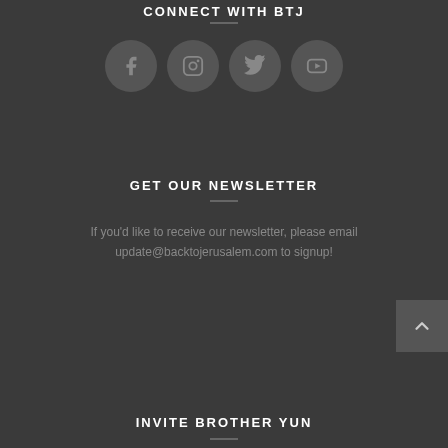CONNECT WITH BTJ
[Figure (illustration): Four social media icon buttons (Facebook, Instagram, Twitter, YouTube) as circular grey buttons with icons]
GET OUR NEWSLETTER
If you'd like to receive our newsletter, please email update@backtojerusalem.com to signup!
INVITE BROTHER YUN